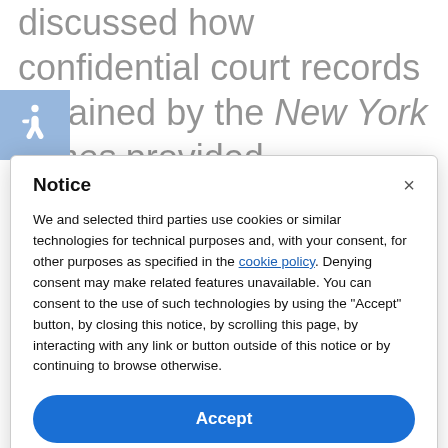discussed how confidential court records obtained by the New York Times provided port for Britney's claims and showed that
[Figure (other): Accessibility icon (wheelchair symbol) on blue background]
Notice
We and selected third parties use cookies or similar technologies for technical purposes and, with your consent, for other purposes as specified in the cookie policy. Denying consent may make related features unavailable. You can consent to the use of such technologies by using the "Accept" button, by closing this notice, by scrolling this page, by interacting with any link or button outside of this notice or by continuing to browse otherwise.
Accept
Learn more and customize